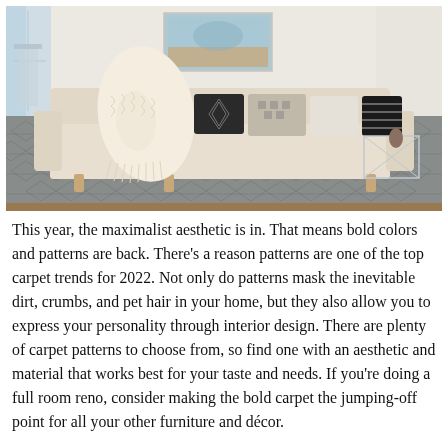[Figure (photo): Interior living room photo showing a light beige sofa with patterned throw pillows and a chunky knit blanket, set on a grey diamond-patterned carpet, with a small acrylic side table and wall art in background]
This year, the maximalist aesthetic is in. That means bold colors and patterns are back. There's a reason patterns are one of the top carpet trends for 2022. Not only do patterns mask the inevitable dirt, crumbs, and pet hair in your home, but they also allow you to express your personality through interior design. There are plenty of carpet patterns to choose from, so find one with an aesthetic and material that works best for your taste and needs. If you're doing a full room reno, consider making the bold carpet the jumping-off point for all your other furniture and décor.